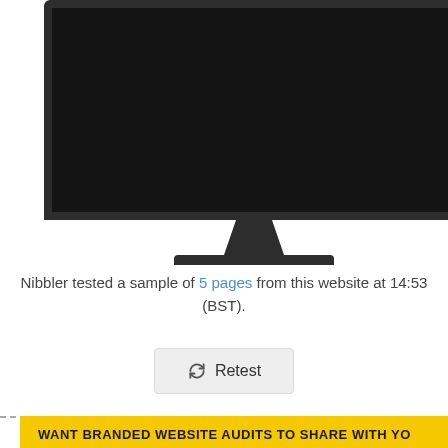[Figure (illustration): A computer monitor with a static/noise pattern on the screen, shown cropped at the top with a dark frame and monitor stand base visible]
Nibbler tested a sample of 5 pages from this website at 14:53 (BST).
[Figure (other): A retest button with a refresh/cycle icon]
WANT BRANDED WEBSITE AUDITS TO SHARE WITH YO